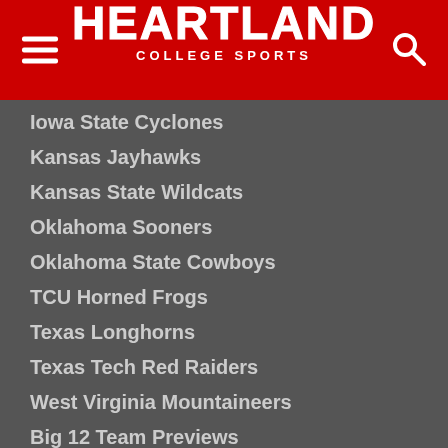HEARTLAND COLLEGE SPORTS
Iowa State Cyclones
Kansas Jayhawks
Kansas State Wildcats
Oklahoma Sooners
Oklahoma State Cowboys
TCU Horned Frogs
Texas Longhorns
Texas Tech Red Raiders
West Virginia Mountaineers
Big 12 Team Previews
Big 12 Sports Interview
Big 12 Game Picks & Predictions
Big 12 Recruiting
About Us
About Us
Advertising/Contact
Members Forum
Members Login
Big 12 Sports Podcast